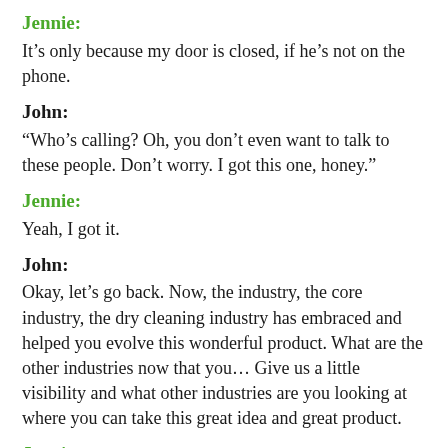Jennie:
It’s only because my door is closed, if he’s not on the phone.
John:
“Who’s calling? Oh, you don’t even want to talk to these people. Don’t worry. I got this one, honey.”
Jennie:
Yeah, I got it.
John:
Okay, let’s go back. Now, the industry, the core industry, the dry cleaning industry has embraced and helped you evolve this wonderful product. What are the other industries now that you… Give us a little visibility and what other industries are you looking at where you can take this great idea and great product.
Jennie: